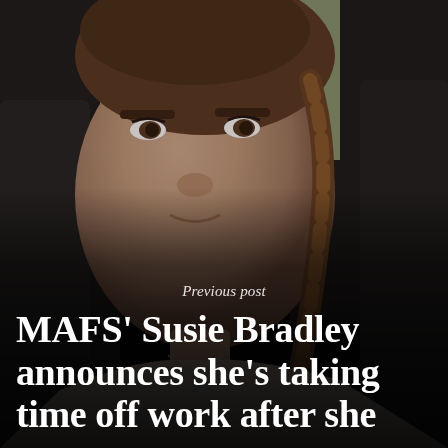[Figure (photo): A young woman with brown hair in a braid takes a selfie inside a car. She has light makeup on, is wearing a light-colored top, and a delicate necklace. The background shows a car interior and greenery outside. The image has a dark overlay at the bottom.]
Previous post
MAFS' Susie Bradley announces she's taking time off work after she